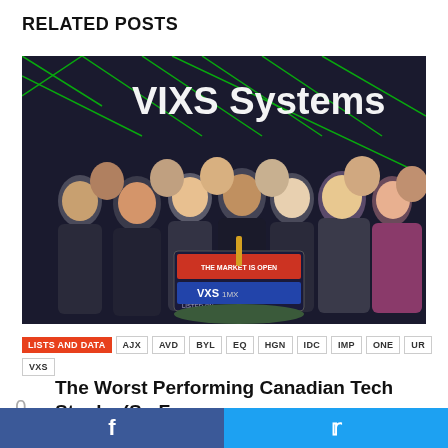RELATED POSTS
[Figure (photo): Group of business professionals celebrating at VIXS Systems stock market opening ceremony, with a display showing 'VXS LISTED ON TMX' and 'THE MARKET IS OPEN' sign, people making peace signs and clapping]
LISTS AND DATA  AJX  AVD  BYL  EQ  HGN  IDC  IMP  ONE  UR  VXS
The Worst Performing Canadian Tech Stocks (So F...